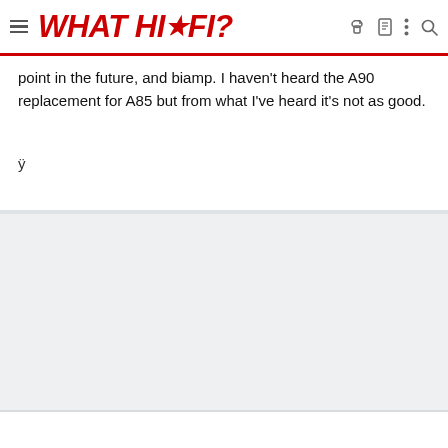WHAT HI*FI?
point in the future, and biamp. I haven't heard the A90 replacement for A85 but from what I've heard it's not as good.
ÿ